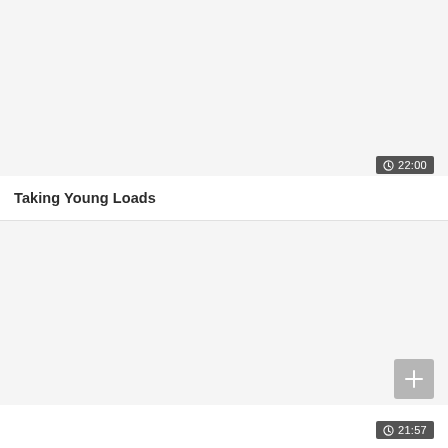[Figure (screenshot): Video thumbnail placeholder area, light gray background]
22:00
Taking Young Loads
[Figure (screenshot): Video thumbnail placeholder area, light gray background]
21:57